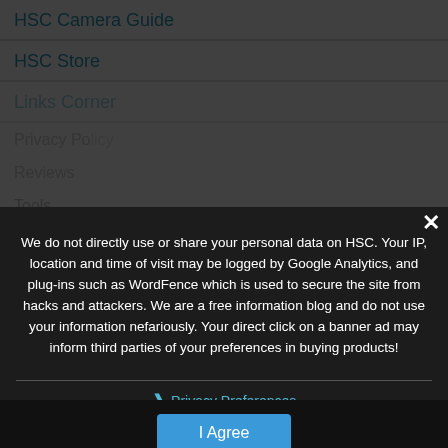HSC Camera Guide
HSC Store
Links Corner
Privacy Po...
Reviews
Tools
VISITORS
8290546
We do not directly use or share your personal data on HSC. Your IP, location and time of visit may be logged by Google Analytics, and plug-ins such as WordFence which is used to secure the site from hacks and attackers. We are a free information blog and do not use your information nefariously. Your direct click on a banner ad may inform third parties of your preferences in buying products!
Necessary
Advertising
Analytics
Other
❯ Privacy Preferences
I Agree
Search...